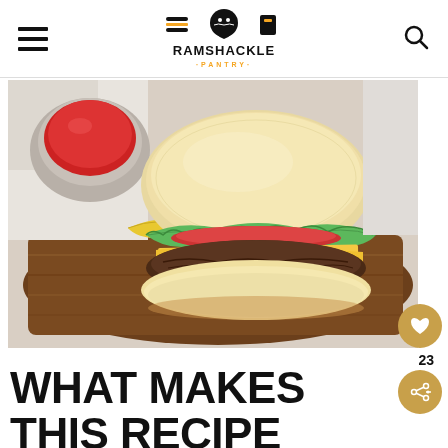Ramshackle Pantry
[Figure (photo): A cheeseburger with lettuce, tomato, and cheese on a wooden cutting board, with a bowl of ketchup in the background]
WHAT MAKES THIS RECIPE SPECIAL?